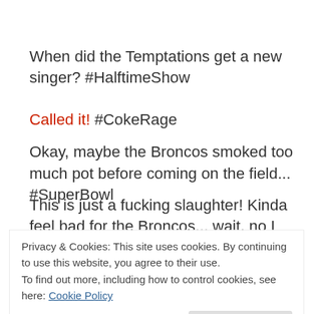When did the Temptations get a new singer? #HalftimeShow
Called it! #CokeRage
Okay, maybe the Broncos smoked too much pot before coming on the field... #SuperBowl
This is just a fucking slaughter! Kinda feel bad for the Broncos... wait, no I don't. #SuperBowl
Privacy & Cookies: This site uses cookies. By continuing to use this website, you agree to their use.
To find out more, including how to control cookies, see here: Cookie Policy